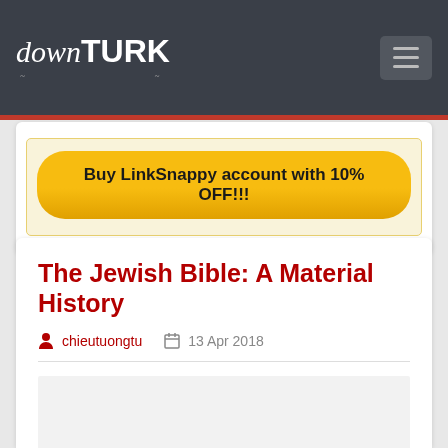downTURK
Buy LinkSnappy account with 10% OFF!!!
The Jewish Bible: A Material History
chieutuongtu   13 Apr 2018